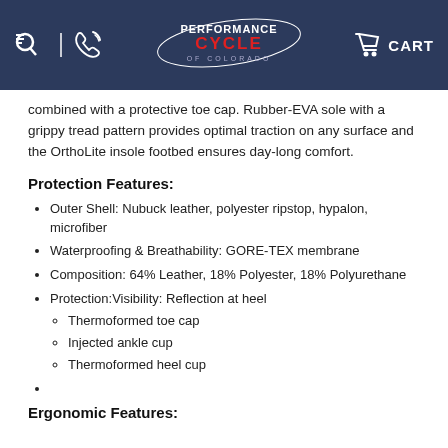Performance Cycle of Colorado - CART
combined with a protective toe cap. Rubber-EVA sole with a grippy tread pattern provides optimal traction on any surface and the OrthoLite insole footbed ensures day-long comfort.
Protection Features:
Outer Shell: Nubuck leather, polyester ripstop, hypalon, microfiber
Waterproofing & Breathability: GORE-TEX membrane
Composition: 64% Leather, 18% Polyester, 18% Polyurethane
Protection:Visibility: Reflection at heel
Thermoformed toe cap
Injected ankle cup
Thermoformed heel cup
Ergonomic Features: